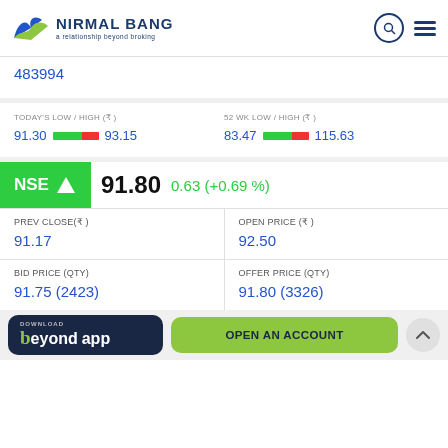[Figure (logo): Nirmal Bang logo with tagline 'a relationship beyond broking']
483994
TODAY'S LOW / HIGH (₹) 91.30 — 93.15
52 WK LOW / HIGH (₹) 83.47 — 115.63
NSE ↑ 91.80  0.63 (+0.69 %)
| PREV CLOSE(₹) | OPEN PRICE (₹) |
| --- | --- |
| 91.17 | 92.50 |
| BID PRICE (QTY) | OFFER PRICE (QTY) |
| --- | --- |
| 91.75 (2423) | 91.80 (3326) |
DOWNLOAD beyond app  |  OPEN AN ACCOUNT